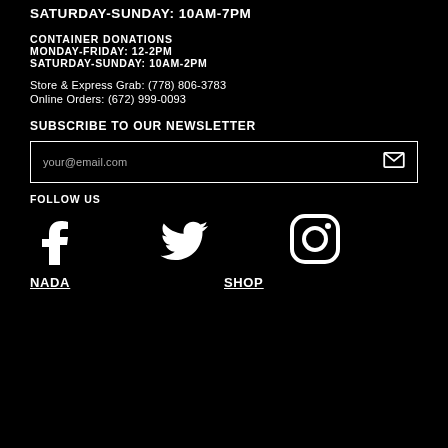SATURDAY-SUNDAY: 10AM-7PM
CONTAINER DONATIONS
MONDAY-FRIDAY: 12-2PM
SATURDAY-SUNDAY: 10AM-2PM
Store & Express Grab: (778) 806-3783
Online Orders: (672) 999-0093
SUBSCRIBE TO OUR NEWSLETTER
your@email.com
FOLLOW US
[Figure (illustration): Social media icons: Facebook, Twitter, Instagram]
NADA   SHOP